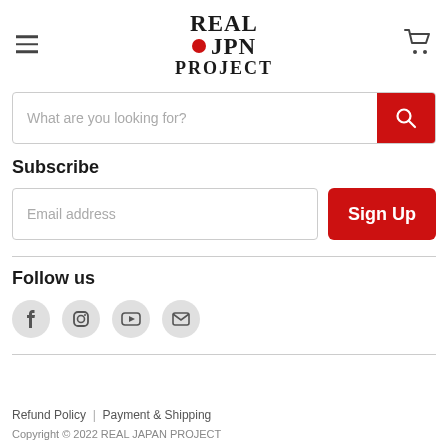[Figure (logo): REAL JPN PROJECT logo with red circle dot]
What are you looking for?
Subscribe
Email address
Sign Up
Follow us
[Figure (infographic): Social media icons: Facebook, Instagram, YouTube, Email]
Refund Policy | Payment & Shipping
Copyright © 2022 REAL JAPAN PROJECT